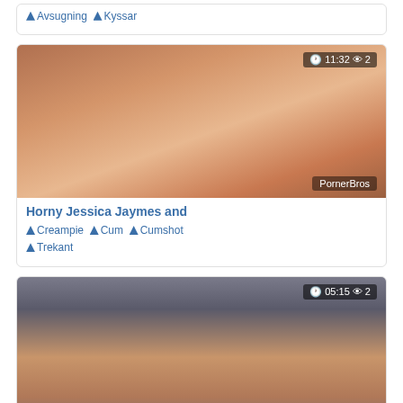[Figure (photo): Partial top card showing tags: Avsugning, Kyssar]
🏷 Avsugning 🏷 Kyssar
[Figure (photo): Video thumbnail for Horny Jessica Jaymes, duration 11:32, 2 views, PornerBros watermark]
Horny Jessica Jaymes and
🏷 Creampie 🏷 Cum 🏷 Cumshot 🏷 Trekant
[Figure (photo): Video thumbnail for Cute Sally Enjoys Anal Sex, duration 05:15, 2 views, PornerBros watermark]
Cute Sally Enjoys Anal Sex in
🏷 Avsugning 🏷 Cum 🏷 Cumshot